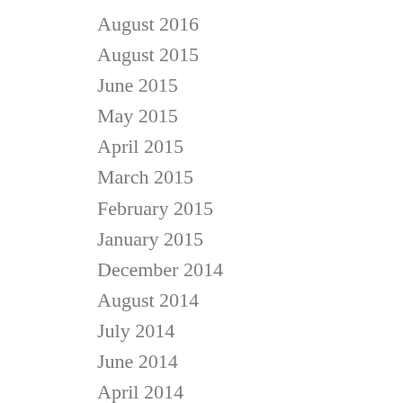August 2016
August 2015
June 2015
May 2015
April 2015
March 2015
February 2015
January 2015
December 2014
August 2014
July 2014
June 2014
April 2014
March 2014